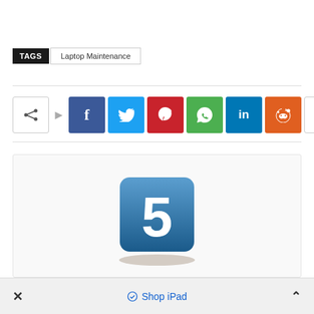TAGS   Laptop Maintenance
[Figure (infographic): Social share buttons row: share icon, arrow, Facebook (blue), Twitter (cyan), Pinterest (red), WhatsApp (green), LinkedIn (blue), Reddit (orange), plus/more button]
[Figure (screenshot): App icon showing a blue tile with a large white number 5, partially showing a heading below it]
Shop iPad